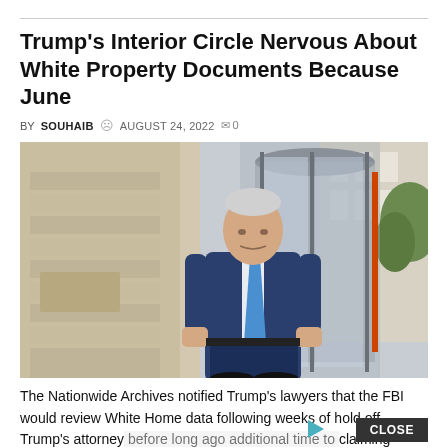Trump's Interior Circle Nervous About White Property Documents Because June
BY SOUHAIB  AUGUST 24, 2022  0
[Figure (photo): Man in blue suit and blue tie walking out of a building entrance with revolving glass doors]
The Nationwide Archives notified Trump's lawyers that the FBI would review White Home data following weeks of hold off. Trump's attorney before long ago additional time to claiming